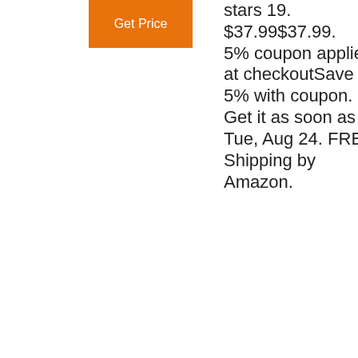[Figure (screenshot): Orange 'Get Price' button top-left area]
stars 19. $37.99$37.99. 5% coupon applied at checkoutSave 5% with coupon. Get it as soon as Tue, Aug 24. FREE Shipping by Amazon.
Feed …
[Figure (screenshot): Sidebar widget with orange 'Get Price' button, '24/7 Online' label, photo of woman with headset, 'Click here for free chat!' text, and orange 'QUOTATION' button on dark blue background]
[Figure (screenshot): Orange 'Get Price' button center-bottom]
[Figure (logo): TOP logo with orange dots arranged as triangle above orange text 'TOP']
[Figure (photo): Three small photos at bottom showing industrial/crane scenes]